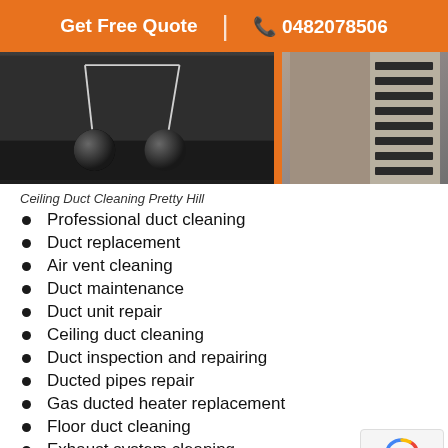Get Free Quote | 0482078506
[Figure (photo): Ceiling duct cleaning equipment with balls inside a duct on the left, and a ventilation grille on the right, separated by an orange divider]
Ceiling Duct Cleaning Pretty Hill
Professional duct cleaning
Duct replacement
Air vent cleaning
Duct maintenance
Duct unit repair
Ceiling duct cleaning
Duct inspection and repairing
Ducted pipes repair
Gas ducted heater replacement
Floor duct cleaning
Exhaust system cleaning
Central heating system sanitization